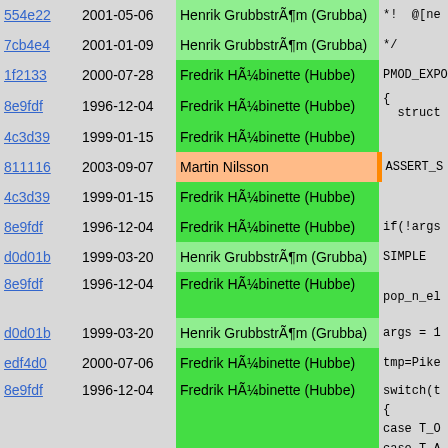| hash | date | author | code |
| --- | --- | --- | --- |
| 554e22 | 2001-05-06 | Henrik GrubbstrÃ¶m (Grubba) | *!  @[ne |
| 7cb4e4 | 2001-01-09 | Henrik GrubbstrÃ¶m (Grubba) | */ |
| 1f2133 | 2000-07-28 | Fredrik HÃ¼binette (Hubbe) | PMOD_EXPOR |
| 8e9fdf | 1996-12-04 | Fredrik HÃ¼binette (Hubbe) | {  struct s |
| 4c3d39 | 1999-01-15 | Fredrik HÃ¼binette (Hubbe) |  |
| 811116 | 2003-09-07 | Martin Nilsson | ASSERT_S |
| 4c3d39 | 1999-01-15 | Fredrik HÃ¼binette (Hubbe) |  |
| 8e9fdf | 1996-12-04 | Fredrik HÃ¼binette (Hubbe) | if(!args |
| d0d01b | 1999-03-20 | Henrik GrubbstrÃ¶m (Grubba) | SIMPLE |
| 8e9fdf | 1996-12-04 | Fredrik HÃ¼binette (Hubbe) | pop_n_el |
| d0d01b | 1999-03-20 | Henrik GrubbstrÃ¶m (Grubba) | args = 1 |
| edf4d0 | 2000-07-06 | Fredrik HÃ¼binette (Hubbe) | tmp=Pike |
| 8e9fdf | 1996-12-04 | Fredrik HÃ¼binette (Hubbe) | switch(t {  case T_O case T_A case T_M case T_M case T_P |